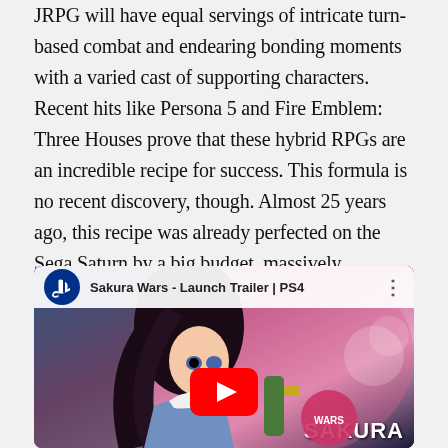JRPG will have equal servings of intricate turn-based combat and endearing bonding moments with a varied cast of supporting characters. Recent hits like Persona 5 and Fire Emblem: Three Houses prove that these hybrid RPGs are an incredible recipe for success. This formula is no recent discovery, though. Almost 25 years ago, this recipe was already perfected on the Sega Saturn by a big budget, massively ambitious Sega title named Sakura Wars that, despite its popularity Japan, has remained in tragic obscurity overseas for decades.
[Figure (screenshot): YouTube video thumbnail for 'Sakura Wars - Launch Trailer | PS4' showing an anime-style female character with dark hair against a colorful background, with a YouTube play button overlay and the Sakura Wars logo at the bottom right. PlayStation logo visible in top-left corner.]